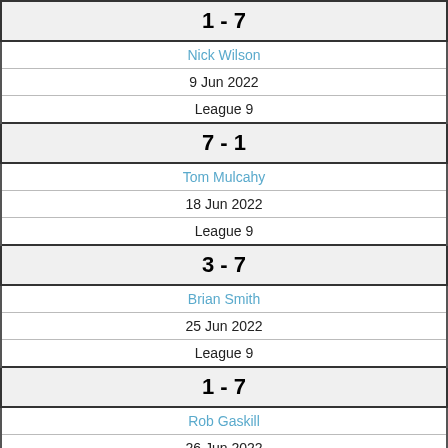| 1 - 7 |
| Nick Wilson |
| 9 Jun 2022 |
| League 9 |
| 7 - 1 |
| Tom Mulcahy |
| 18 Jun 2022 |
| League 9 |
| 3 - 7 |
| Brian Smith |
| 25 Jun 2022 |
| League 9 |
| 1 - 7 |
| Rob Gaskill |
| 26 Jun 2022 |
| League 9 |
| 7 - 5 |
| Chris Bloomfield |
| 6 Jul 2022 |
| League 10 |